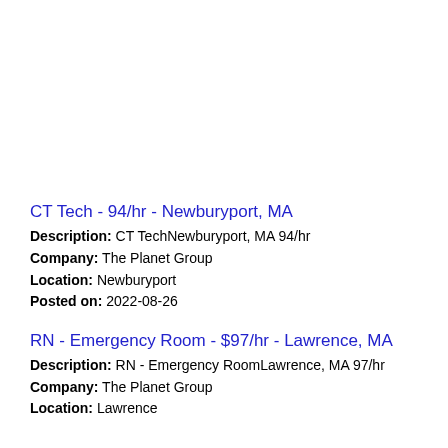CT Tech - 94/hr - Newburyport, MA
Description: CT TechNewburyport, MA 94/hr
Company: The Planet Group
Location: Newburyport
Posted on: 2022-08-26
RN - Emergency Room - $97/hr - Lawrence, MA
Description: RN - Emergency RoomLawrence, MA 97/hr
Company: The Planet Group
Location: Lawrence